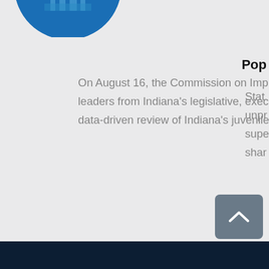[Figure (illustration): Partial circular logo with blue background and building/government imagery, cropped at top-left]
Pop
On August 16, the Commission on Improving the Status of Children in Indiana, along with leaders from Indiana's legislative, executive and judicial branches, launched a comprehensive, data-driven review of Indiana's juvenile justice system.
Stat unpr supe shar
READ MORE
[Figure (other): Partial teal/green rounded button visible on right edge]
[Figure (other): Carousel dot navigation: 6 dots, first dot is teal/active, remaining 5 are grey]
[Figure (other): Back-to-top button: grey rounded square with white upward chevron arrow]